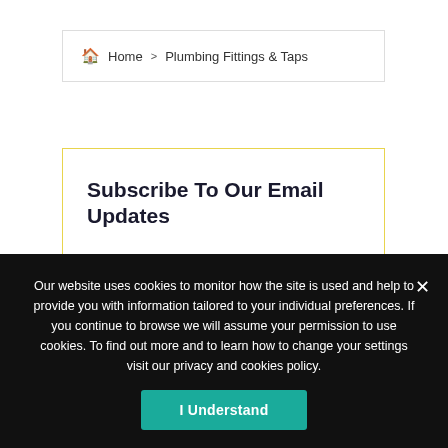Home > Plumbing Fittings & Taps
Subscribe To Our Email Updates
Our website uses cookies to monitor how the site is used and help to provide you with information tailored to your individual preferences. If you continue to browse we will assume your permission to use cookies. To find out more and to learn how to change your settings visit our privacy and cookies policy.
I Understand